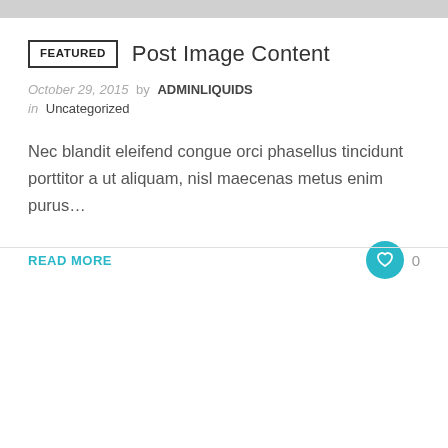[Figure (other): Gray decorative header bar at top of page]
FEATURED  Post Image Content
October 29, 2015  by  ADMINLIQUIDS
in  Uncategorized
Nec blandit eleifend congue orci phasellus tincidunt porttitor a ut aliquam, nisl maecenas metus enim purus...
READ MORE  0